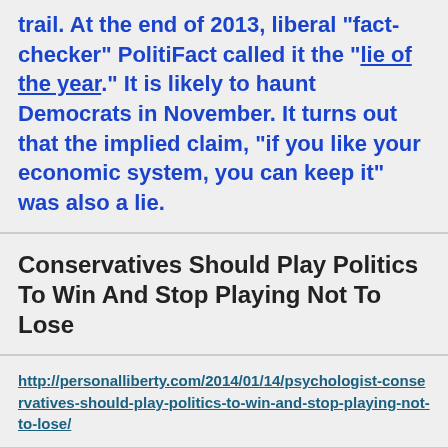trail. At the end of 2013, liberal “fact-checker” PolitiFact called it the “lie of the year.” It is likely to haunt Democrats in November. It turns out that the implied claim, “if you like your economic system, you can keep it” was also a lie.
Conservatives Should Play Politics To Win And Stop Playing Not To Lose
http://personalliberty.com/2014/01/14/psychologist-conservatives-should-play-politics-to-win-and-stop-playing-not-to-lose/
IRAN CELEBRATES AMERICAN ‘SURRENDER’; OBAMA SAYS ‘GIVE